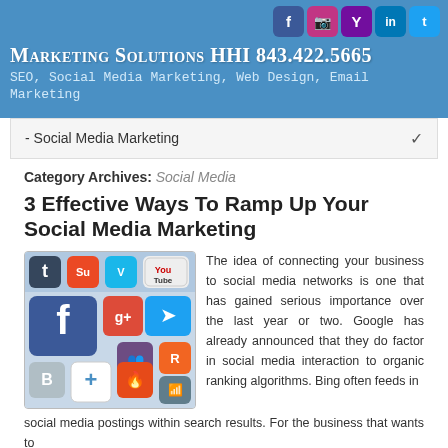Marketing Solutions HHI 843.422.5665
SEO, Social Media Marketing, Web Design, Email Marketing
[Figure (screenshot): Social media platform icons: Facebook, Instagram, Yahoo, LinkedIn, Twitter]
- Social Media Marketing
Category Archives: Social Media
3 Effective Ways To Ramp Up Your Social Media Marketing
[Figure (illustration): Collage of social media app icons including Facebook, Twitter, YouTube, Google+, Tumblr, StumbleUpon, Vimeo and others]
The idea of connecting your business to social media networks is one that has gained serious importance over the last year or two. Google has already announced that they do factor in social media interaction to organic ranking algorithms. Bing often feeds in social media postings within search results. For the business that wants to